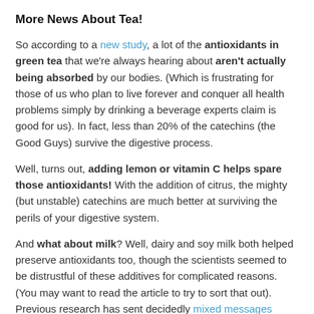More News About Tea!
So according to a new study, a lot of the antioxidants in green tea that we're always hearing about aren't actually being absorbed by our bodies. (Which is frustrating for those of us who plan to live forever and conquer all health problems simply by drinking a beverage experts claim is good for us). In fact, less than 20% of the catechins (the Good Guys) survive the digestive process.
Well, turns out, adding lemon or vitamin C helps spare those antioxidants! With the addition of citrus, the mighty (but unstable) catechins are much better at surviving the perils of your digestive system.
And what about milk? Well, dairy and soy milk both helped preserve antioxidants too, though the scientists seemed to be distrustful of these additives for complicated reasons. (You may want to read the article to try to sort that out). Previous research has sent decidedly mixed messages about the whole adding-milk-to-tea thing. Plus, sometimes they study black tea and sometimes green, further